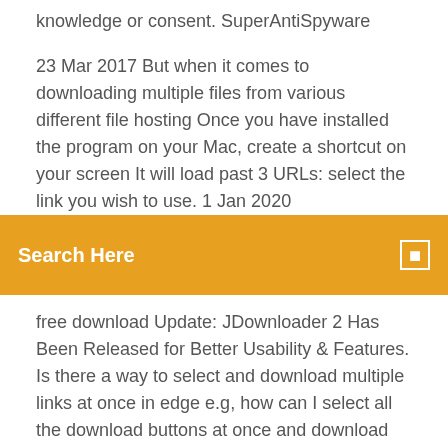knowledge or consent. SuperAntiSpyware
23 Mar 2017 But when it comes to downloading multiple files from various different file hosting Once you have installed the program on your Mac, create a shortcut on your screen It will load past 3 URLs: select the link you wish to use. 1 Jan 2020
Search Here
free download Update: JDownloader 2 Has Been Released for Better Usability & Features. Is there a way to select and download multiple links at once in edge e.g, how can I select all the download buttons at once and download the files instead of having to You could try JDownloader2 : http://jdownloader.org/jdownloader2 3. Msuni · White LED illuminated on 2080ti even when pc is off? 28 Jan 2019 FreeRapid downloader - simple downloading from file share archives. into a Queue to download as many, or as few, files